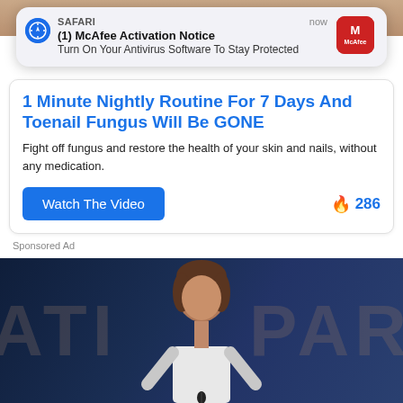[Figure (screenshot): Top partial image of skin or nails, blurred]
[Figure (screenshot): Safari browser notification popup showing McAfee Activation Notice]
1 Minute Nightly Routine For 7 Days And Toenail Fungus Will Be GONE
Fight off fungus and restore the health of your skin and nails, without any medication.
Watch The Video
🔥 286
Sponsored Ad
[Figure (photo): Photo of a woman at a podium in front of a dark blue background with large letters ATI and PAR partially visible]